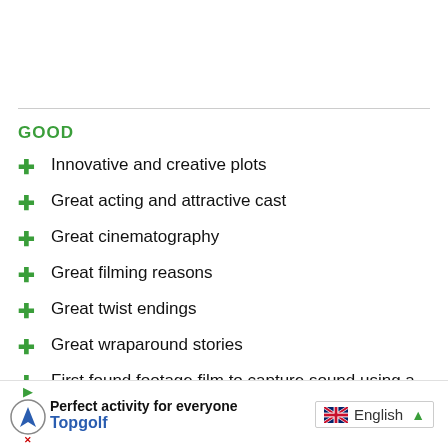GOOD
Innovative and creative plots
Great acting and attractive cast
Great cinematography
Great filming reasons
Great twist endings
Great wraparound stories
First found footage film to capture sound using a 1920s
Perfect activity for everyone  Topgolf  English